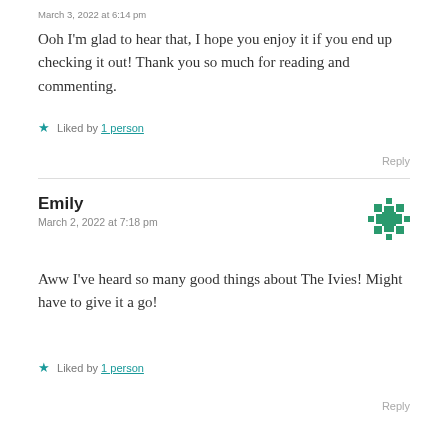March 3, 2022 at 6:14 pm
Ooh I'm glad to hear that, I hope you enjoy it if you end up checking it out! Thank you so much for reading and commenting.
★ Liked by 1 person
Reply
Emily
March 2, 2022 at 7:18 pm
Aww I've heard so many good things about The Ivies! Might have to give it a go!
★ Liked by 1 person
Reply